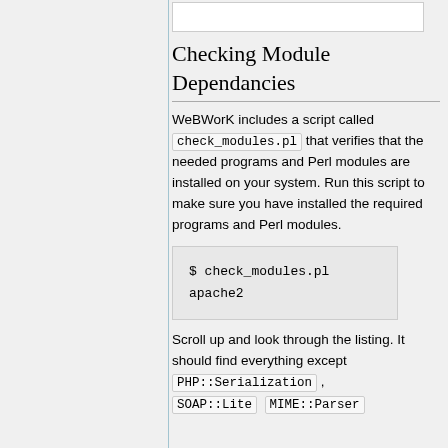Checking Module Dependancies
WeBWorK includes a script called check_modules.pl that verifies that the needed programs and Perl modules are installed on your system. Run this script to make sure you have installed the required programs and Perl modules.
$ check_modules.pl apache2
Scroll up and look through the listing. It should find everything except PHP::Serialization , SOAP::Lite , MIME::Parser